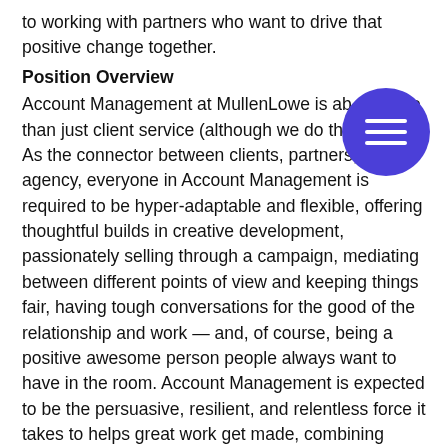to working with partners who want to drive that positive change together.
Position Overview
Account Management at MullenLowe is about more than just client service (although we do that, too). As the connector between clients, partners, and the agency, everyone in Account Management is required to be hyper-adaptable and flexible, offering thoughtful builds in creative development, passionately selling through a campaign, mediating between different points of view and keeping things fair, having tough conversations for the good of the relationship and work — and, of course, being a positive awesome person people always want to have in the room. Account Management is expected to be the persuasive, resilient, and relentless force it takes to helps great work get made, combining sharp points of view on both
[Figure (other): Purple circular menu button icon with three horizontal white lines (hamburger menu icon)]